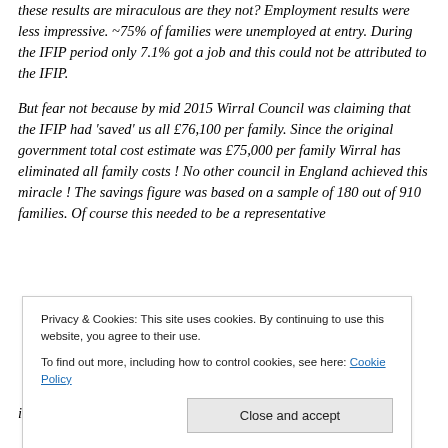these results are miraculous are they not? Employment results were less impressive. ~75% of families were unemployed at entry. During the IFIP period only 7.1% got a job and this could not be attributed to the IFIP.
But fear not because by mid 2015 Wirral Council was claiming that the IFIP had 'saved' us all £76,100 per family. Since the original government total cost estimate was £75,000 per family Wirral has eliminated all family costs ! No other council in England achieved this miracle ! The savings figure was based on a sample of 180 out of 910 families. Of course this needed to be a representative
Privacy & Cookies: This site uses cookies. By continuing to use this website, you agree to their use.
To find out more, including how to control cookies, see here: Cookie Policy
in crime, around 5 to 10%. The sample used to calculate